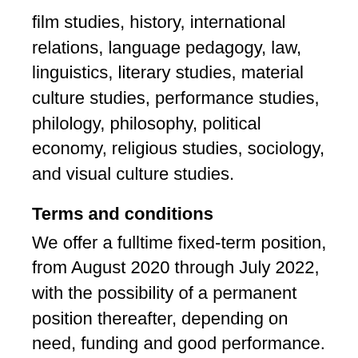film studies, history, international relations, language pedagogy, law, linguistics, literary studies, material culture studies, performance studies, philology, philosophy, political economy, religious studies, sociology, and visual culture studies.
Terms and conditions
We offer a fulltime fixed-term position, from August 2020 through July 2022, with the possibility of a permanent position thereafter, depending on need, funding and good performance. Subject to experience and teaching skills certifications, salary range from €3,637.- to €5,656.- gross per month on full-time base (pay scale 11 or 12 in accordance with the Collective Labour Agreement for Dutch Universities).
Leiden University offers an attractive benefits package